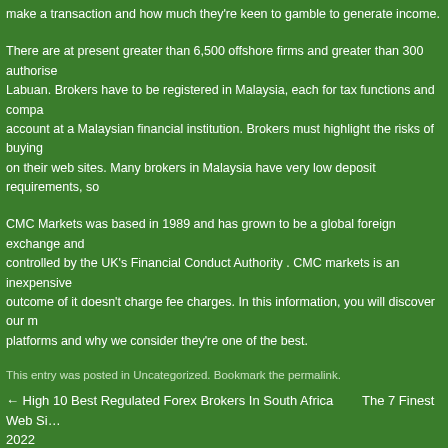make a transaction and how much they're keen to gamble to generate income.
There are at present greater than 6,500 offshore firms and greater than 300 authorised in Labuan. Brokers have to be registered in Malaysia, each for tax functions and company account at a Malaysian financial institution. Brokers must highlight the risks of buying on their web sites. Many brokers in Malaysia have very low deposit requirements, so
CMC Markets was based in 1989 and has grown to be a global foreign exchange and controlled by the UK's Financial Conduct Authority . CMC markets is an inexpensive outcome of it doesn't charge fee charges. In this information, you will discover our me platforms and why we consider they're one of the best.
This entry was posted in Uncategorized. Bookmark the permalink.
← High 10 Best Regulated Forex Brokers In South Africa     The 7 Finest Web Si… 2022
Leave a Reply
Your email address will not be published. Required fields are marked *